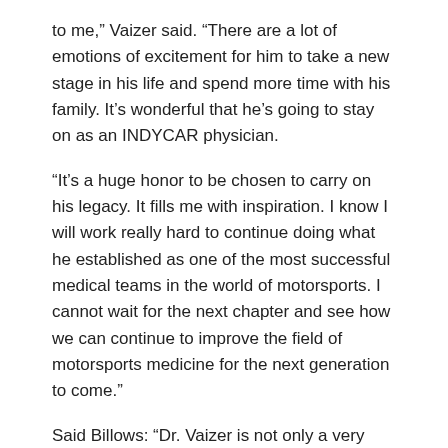to me,” Vaizer said. “There are a lot of emotions of excitement for him to take a new stage in his life and spend more time with his family. It’s wonderful that he’s going to stay on as an INDYCAR physician.
“It’s a huge honor to be chosen to carry on his legacy. It fills me with inspiration. I know I will work really hard to continue doing what he established as one of the most successful medical teams in the world of motorsports. I cannot wait for the next chapter and see how we can continue to improve the field of motorsports medicine for the next generation to come.”
Said Billows: “Dr. Vaizer is not only a very skilled and talented emergency medicine physician but a gifted educator. She’s the only physician on the face of this planet to who has completed a formal, post-graduate, university-based motorsports medicine fellowship. I have 100% confidence in turning the position of medical director over to her.”
category: NTT IndyCar Series PR